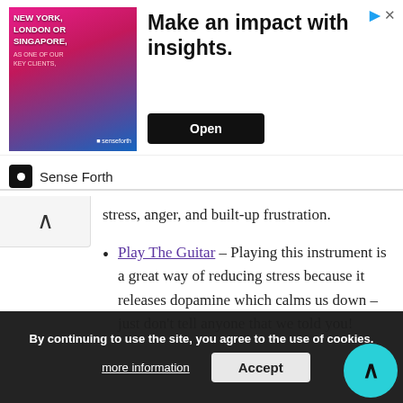[Figure (screenshot): Advertisement banner: 'Make an impact with insights.' by Sense Forth with Open button]
stress, anger, and built-up frustration.
Play The Guitar – Playing this instrument is a great way of reducing stress because it releases dopamine which calms us down – just don't tell anyone that we told you!
Wealth – We often think of wealth in terms of how much money we have, but your health is also a key component to consider. For example, as you age and lose bone density it can become more difficult for the body to absorb calcium from food which means that you'll need to take vitamin supplements or alternatively increase your intake of milk products such as cheese.
Take A Training Course In Your Area Of Interest –
By continuing to use the site, you agree to the use of cookies.
more information   Accept